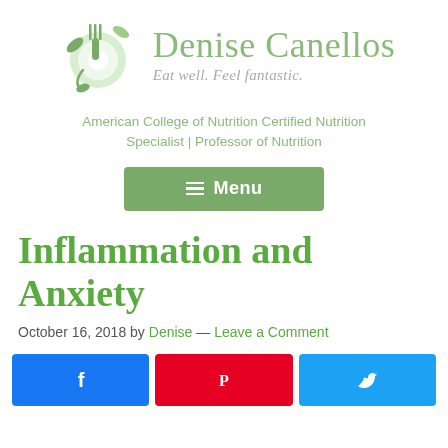[Figure (logo): Denise Canellos nutrition logo with fork, leaves and plate icon, and text 'Denise Canellos — Eat well. Feel fantastic.']
American College of Nutrition Certified Nutrition Specialist | Professor of Nutrition
Menu
Inflammation and Anxiety
October 16, 2018 by Denise — Leave a Comment
[Figure (infographic): Social share buttons: Facebook (blue), Pinterest (red), Twitter (blue)]